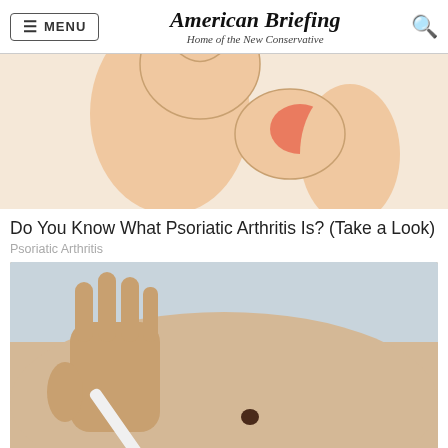MENU | American Briefing — Home of the New Conservative
[Figure (illustration): Illustration of a person with psoriatic arthritis, showing inflamed elbow/joint area with redness]
Do You Know What Psoriatic Arthritis Is? (Take a Look)
Psoriatic Arthritis
[Figure (photo): A medical photo of a hand holding a white pen/device pointing at a dark mole or skin lesion on a person's skin, with a light blue/gray background]